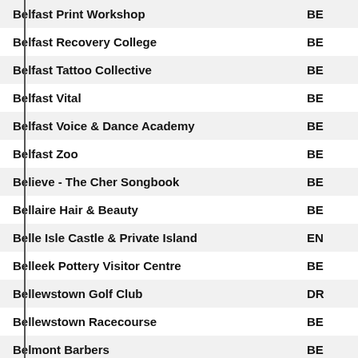| Name | Code |
| --- | --- |
| Belfast Print Workshop | BE |
| Belfast Recovery College | BE |
| Belfast Tattoo Collective | BE |
| Belfast Vital | BE |
| Belfast Voice & Dance Academy | BE |
| Belfast Zoo | BE |
| Believe - The Cher Songbook | BE |
| Bellaire Hair & Beauty | BE |
| Belle Isle Castle & Private Island | EN |
| Belleek Pottery Visitor Centre | BE |
| Bellewstown Golf Club | DR |
| Bellewstown Racecourse | BE |
| Belmont Barbers | BE |
| Belmont Road | BE |
| Belsonic 2020 | BE |
| Belvedere House, Garden & Park | MU |
| Belvoir Studio Theatre | BE |
| Bending Sound Records | BA |